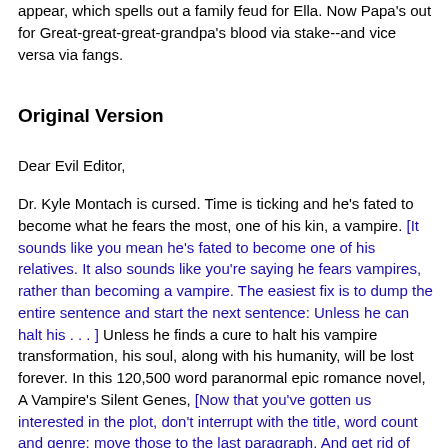appear, which spells out a family feud for Ella. Now Papa's out for Great-great-great-grandpa's blood via stake--and vice versa via fangs.
Original Version
Dear Evil Editor,
Dr. Kyle Montach is cursed. Time is ticking and he's fated to become what he fears the most, one of his kin, a vampire. [It sounds like you mean he's fated to become one of his relatives. It also sounds like you're saying he fears vampires, rather than becoming a vampire. The easiest fix is to dump the entire sentence and start the next sentence: Unless he can halt his . . . ] Unless he finds a cure to halt his vampire transformation, his soul, along with his humanity, will be lost forever. In this 120,500 word paranormal epic romance novel, A Vampire's Silent Genes, [Now that you've gotten us interested in the plot, don't interrupt with the title, word count and genre; move those to the last paragraph. And get rid of "epic."] life for Kyle and his soul mate, Sarah Whitaker